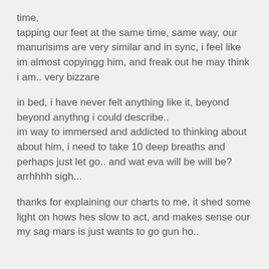time,
tapping our feet at the same time, same way, our manurisims are very similar and in sync, i feel like im almost copyingg him, and freak out he may think i am.. very bizzare
in bed, i have never felt anything like it, beyond beyond anythng i could describe..
im way to immersed and addicted to thinking about about him, i need to take 10 deep breaths and perhaps just let go.. and wat eva will be will be? arrhhhh sigh...
thanks for explaining our charts to me, it shed some light on hows hes slow to act, and makes sense our my sag mars is just wants to go gun ho..